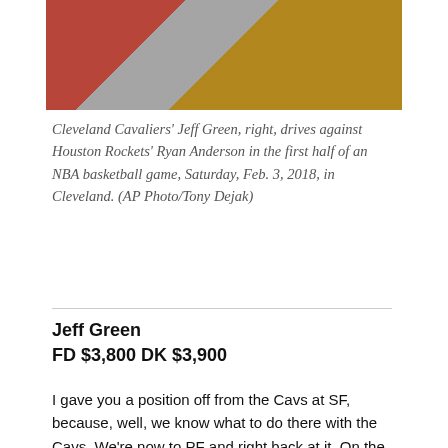[Figure (photo): Basketball game photo showing Cleveland Cavaliers and Houston Rockets players in action]
Cleveland Cavaliers' Jeff Green, right, drives against Houston Rockets' Ryan Anderson in the first half of an NBA basketball game, Saturday, Feb. 3, 2018, in Cleveland. (AP Photo/Tony Dejak)
Jeff Green
FD $3,800 DK $3,900
I gave you a position off from the Cavs at SF, because, well, we know what to do there with the Cavs. We're now to PF and right back at it. On the high-end, Larry Nance Jr. is one of the top plays on the entire night. With Tristan Thompson still out, he's locked into minutes and Lebron loves playing with him. If you want to get cheaper, Jeff Green is a very solid option. I don't think he's a very good basketball player, but it doesn't